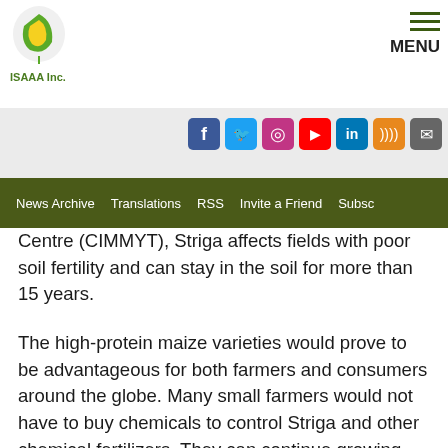ISAAA Inc. | MENU
Centre (CIMMYT), Striga affects fields with poor soil fertility and can stay in the soil for more than 15 years.
The high-protein maize varieties would prove to be advantageous for both farmers and consumers around the globe. Many small farmers would not have to buy chemicals to control Striga and other chemical fertilizers. They can continue growing maize even in areas with Striga. Consumers would benefit from the rich nutritional content of the high-protein maize varieties. Unlike typical maize varieties, the high-protein maize varieties contain a vast array